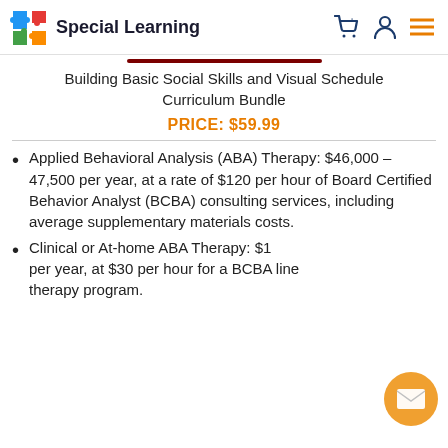Special Learning
Building Basic Social Skills and Visual Schedule Curriculum Bundle
PRICE: $59.99
Applied Behavioral Analysis (ABA) Therapy: $46,000 – 47,500 per year, at a rate of $120 per hour of Board Certified Behavior Analyst (BCBA) consulting services, including average supplementary materials costs.
Clinical or At-home ABA Therapy: $1[...] per year, at $30 per hour for a BCBA line therapy program.